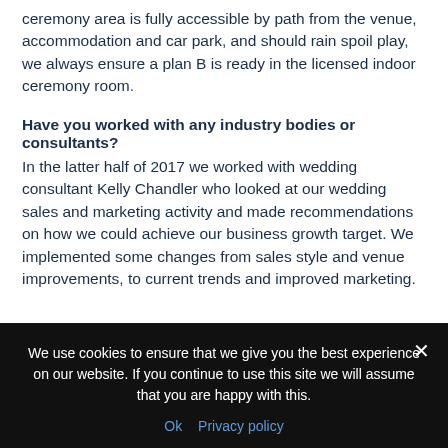ceremony area is fully accessible by path from the venue, accommodation and car park, and should rain spoil play, we always ensure a plan B is ready in the licensed indoor ceremony room.
Have you worked with any industry bodies or consultants? In the latter half of 2017 we worked with wedding consultant Kelly Chandler who looked at our wedding sales and marketing activity and made recommendations on how we could achieve our business growth target. We implemented some changes from sales style and venue improvements, to current trends and improved marketing.
We put a lot of effort into planning and implementing these changes, so we didn't re-launch our wedding offering until late
We use cookies to ensure that we give you the best experience on our website. If you continue to use this site we will assume that you are happy with this.